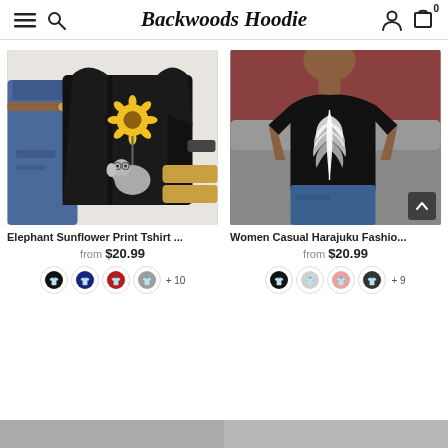Backwoods Hoodie
[Figure (photo): Black t-shirt with elephant and sunflower print, laid flat with jeans and sandals]
Elephant Sunflower Print Tshirt ...
from $20.99
[Figure (photo): Woman wearing black t-shirt with white feather print, sitting on couch with blue shorts]
Women Casual Harajuku Fashio...
from $20.99